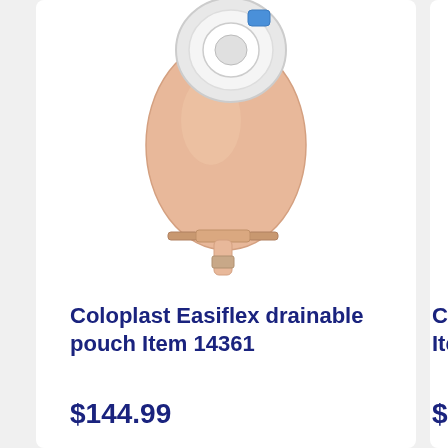[Figure (photo): Coloplast Easiflex drainable ostomy pouch - a skin-toned oval pouch with a white circular flange/coupling ring at the top with a blue tab, and a drain outlet with a clamp at the bottom]
Coloplast Easiflex drainable pouch Item 14361
$144.99